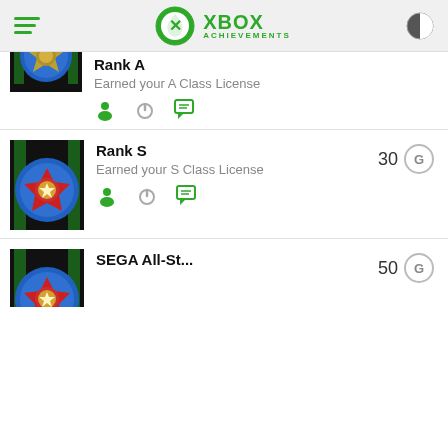XBOX ACHIEVEMENTS
[Figure (screenshot): Partially cropped achievement badge for Rank A (blue shield icon)]
Rank A
Earned your A Class License
[Figure (screenshot): Achievement badge for Rank S (blue and red medal icon with green banner)]
Rank S
Earned your S Class License
[Figure (screenshot): Achievement badge for SEGA All-Star (blue and red medal icon with green banner), partially cropped]
SEGA All-St...